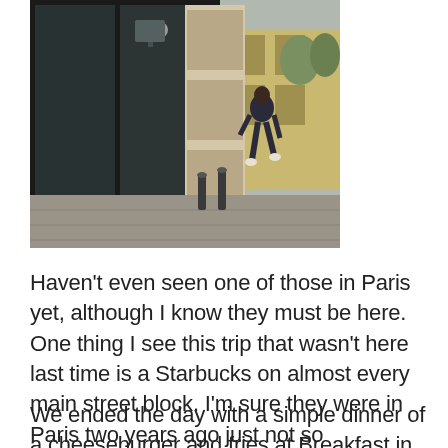[Figure (photo): Street scene in Paris showing a person walking past what appears to be an Apple Store with glass facade, stone building, bollards on the pavement, and a street/square visible in the background with trees.]
Haven't even seen one of those in Paris yet, although I know they must be here. One thing I see this trip that wasn't here last time is a Starbucks on almost every main street block. I'm sure they were in Paris two years ago just not so prominently.
We ended the day with a simple dinner of a cheeseburger and fries at Breakfast in